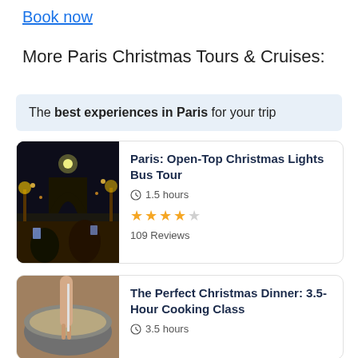Book now
More Paris Christmas Tours & Cruises:
The best experiences in Paris for your trip
[Figure (photo): Night photo of Arc de Triomphe with Christmas lights, people taking photos from open-top bus]
Paris: Open-Top Christmas Lights Bus Tour
1.5 hours
109 Reviews
[Figure (photo): Hand stirring a pot, cooking class scene]
The Perfect Christmas Dinner: 3.5-Hour Cooking Class
3.5 hours